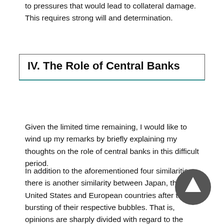to pressures that would lead to collateral damage. This requires strong will and determination.
IV. The Role of Central Banks
Given the limited time remaining, I would like to wind up my remarks by briefly explaining my thoughts on the role of central banks in this difficult period.
In addition to the aforementioned four similarities, there is another similarity between Japan, the United States and European countries after the bursting of their respective bubbles. That is, opinions are sharply divided with regard to the roles central banks should play. In the United States, criticism of aggressive central bank measures seems to prevail, as evidenced by negative reactions by politicians to the QE2 measures. In other developed countries, however, central banks apparently face rising expectations and demands to deal with the situation against a background of sluggish growth. The recent discussion about the responses to the sovereign debt crisis in Europe confirms this